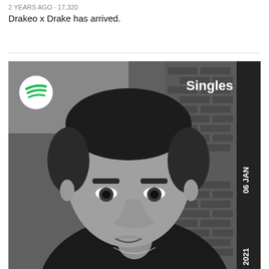2 YEARS AGO · 17,320
Drakeo x Drake has arrived.
[Figure (photo): Black and white Spotify Singles promotional image dated 06 JAN 2021, showing a young man in a black t-shirt with a fade haircut looking directly at camera, with a brick building in the background. Spotify logo (white circle with three horizontal lines) in upper left corner. 'Singles' text in white upper right. '2021' and '06 JAN' text rotated vertically on the right edge.]